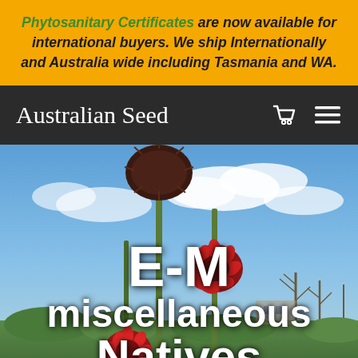Phytosanitary Certificates are now available for international buyers. We ship Internationally and Australia wide including Tasmania and WA.
Australian Seed
[Figure (photo): Australian native plants with red spiky flowers (possibly Isopogon or Banksia) against a blue sky with clouds, with trees and buildings in the background. Text overlay reads 'E-M miscellaneous Natives'.]